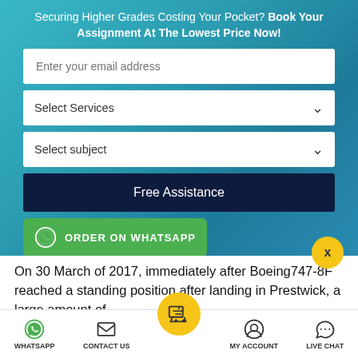Securing Higher Grades Costing Your Pocket? Book Your Assignment At The Lowest Price Now!
[Figure (screenshot): Web form with email input, two dropdowns (Select Services, Select subject), Free Assistance button, and ORDER ON WHATSAPP green button on teal gradient background]
On 30 March of 2017, immediately after Boeing747-8F reached a standing position after landing in Prestwick, a large amount of
WHATSAPP  CONTACT US  ORDER NOW  MY ACCOUNT  LIVE CHAT